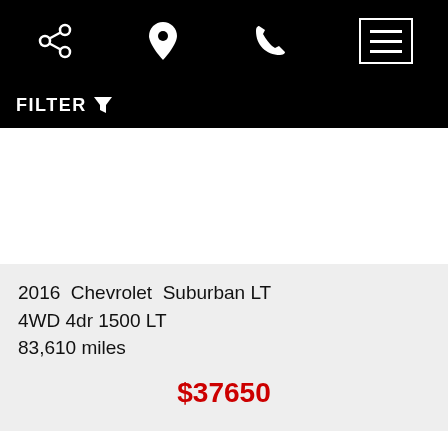[Figure (screenshot): Mobile app top navigation bar with share, location, phone, and menu icons on black background]
FILTER
2016  Chevrolet  Suburban LT
4WD 4dr 1500 LT
83,610 miles
$37650
[Figure (other): Loading spinner graphic]